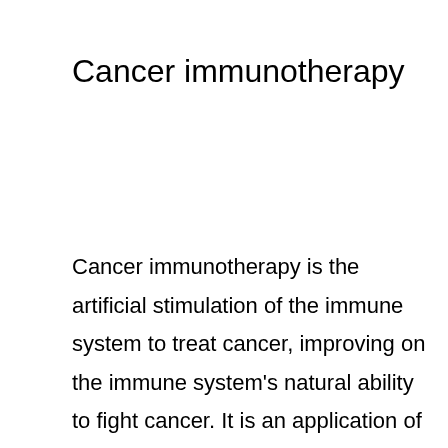Cancer immunotherapy
Cancer immunotherapy is the artificial stimulation of the immune system to treat cancer, improving on the immune system's natural ability to fight cancer. It is an application of the fundamental research of cancer immunology and a growing subspeciality of oncology. It exploits the fact tha...